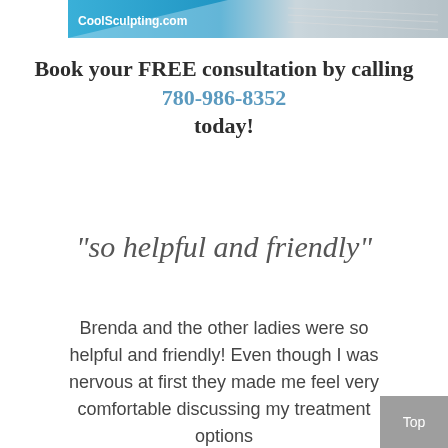[Figure (screenshot): CoolSculpting.com banner advertisement at top of page showing logo and background image of a snowy/icy surface]
Book your FREE consultation by calling 780-986-8352 today!
“so helpful and friendly”
Brenda and the other ladies were so helpful and friendly! Even though I was nervous at first they made me feel very comfortable discussing my treatment options